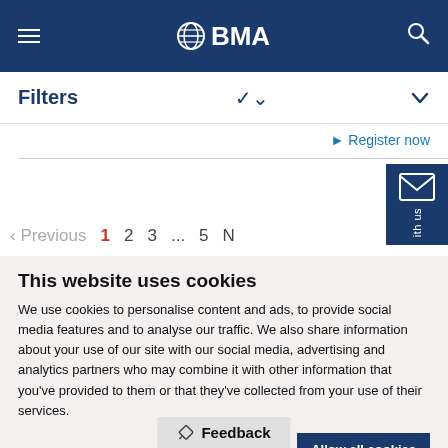BMA - British Medical Association website header
Filters
▶ Register now
Pagination: Previous 1 2 3 ... 5 N
This website uses cookies
We use cookies to personalise content and ads, to provide social media features and to analyse our traffic. We also share information about your use of our site with our social media, advertising and analytics partners who may combine it with other information that you've provided to them or that they've collected from your use of their services.
Allow selection | Allow all cookies
Necessary  Preferences  Statistics  Marketing  Show details
Feedback